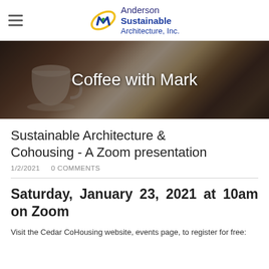Anderson Sustainable Architecture, Inc.
[Figure (photo): Hero banner photograph showing a coffee cup on a table in a cafe setting, with dark overlay and white text 'Coffee with Mark']
Coffee with Mark
Sustainable Architecture & Cohousing - A Zoom presentation
1/2/2021   0 COMMENTS
Saturday, January 23, 2021 at 10am on Zoom
Visit the Cedar CoHousing website, events page, to register for free: